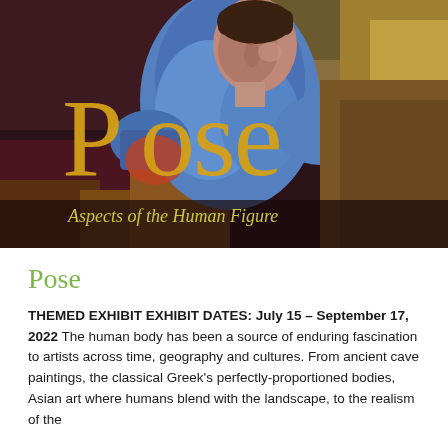[Figure (illustration): A painted artwork showing a person in a blue shirt leaning forward against a dark background, with large stylized yellow text 'Pose' overlaid and subtitle text 'Aspects of the Human Figure' in yellow-green at the bottom of the image.]
Pose
THEMED EXHIBIT EXHIBIT DATES: July 15 – September 17, 2022 The human body has been a source of enduring fascination to artists across time, geography and cultures. From ancient cave paintings, the classical Greek's perfectly-proportioned bodies, Asian art where humans blend with the landscape, to the realism of the